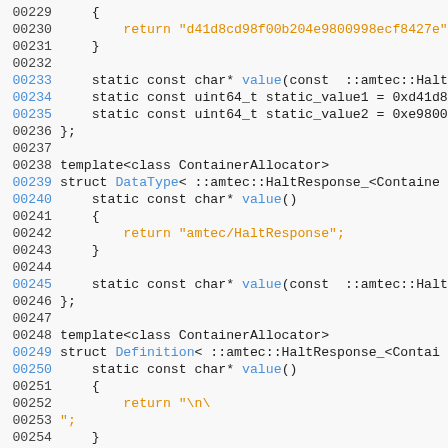[Figure (screenshot): Source code listing in C++ showing lines 00229-00258, with syntax highlighting. Line numbers in black or blue on the left, keywords in dark, string literals in orange/amber, function names in blue.]